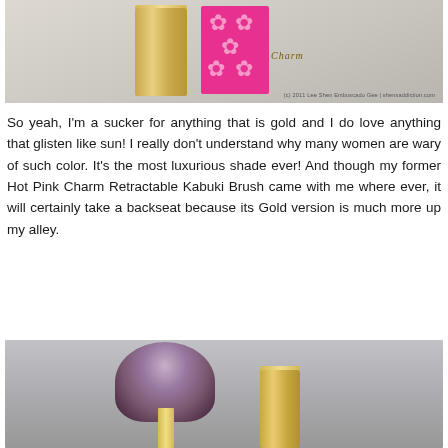[Figure (photo): Photo of a gold retractable kabuki brush next to a pink Kabuki Brush product box with flower designs. Watermark reads: (c) 2011 Lee Shen Embarcado Gee | shensaddiction.com]
So yeah, I'm a sucker for anything that is gold and I do love anything that glisten like sun! I really don't understand why many women are wary of such color. It's the most luxurious shade ever! And though my former Hot Pink Charm Retractable Kabuki Brush came with me where ever, it will certainly take a backseat because its Gold version is much more up my alley.
[Figure (photo): Photo of a kabuki brush with fluffy purple-tipped bristles next to a gold retractable brush handle/cap, on a gray background.]